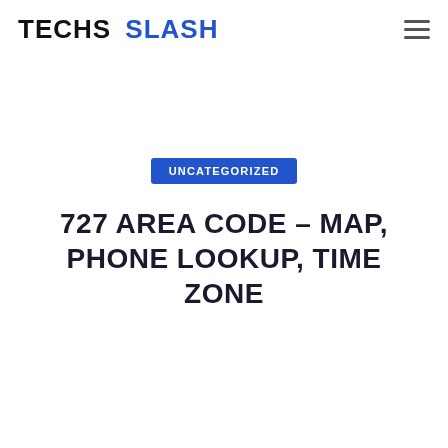TECHS SLASH
UNCATEGORIZED
727 AREA CODE – MAP, PHONE LOOKUP, TIME ZONE